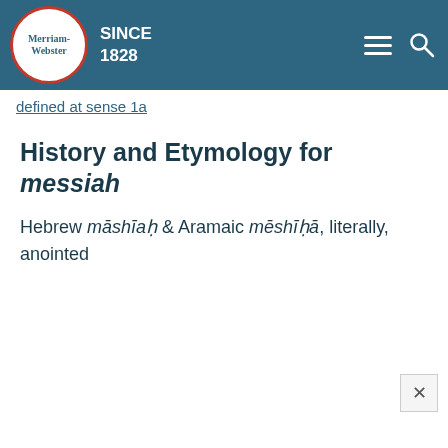Merriam-Webster SINCE 1828
defined at sense 1a
History and Etymology for messiah
Hebrew māshīaḥ & Aramaic mēshīḥā, literally, anointed